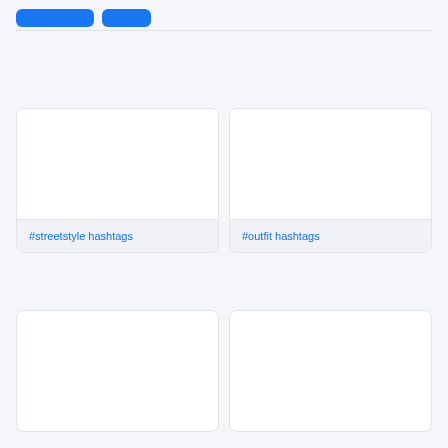[Figure (screenshot): Two blue buttons in the top navigation bar]
#streetstyle hashtags
#outfit hashtags
[Figure (screenshot): Bottom left card with white image placeholder]
[Figure (screenshot): Bottom right card with white image placeholder]